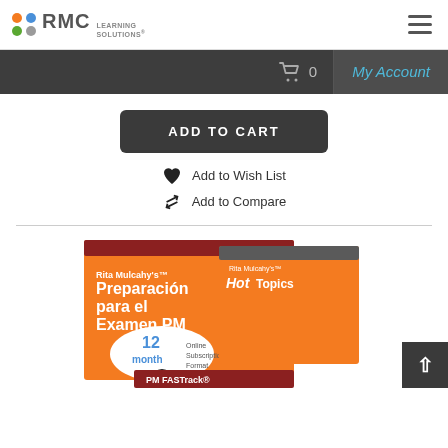[Figure (logo): RMC Learning Solutions logo with colored dots and company name]
0
My Account
ADD TO CART
Add to Wish List
Add to Compare
[Figure (photo): Book bundle showing Rita Mulcahy's Preparacion para el Examen PMP, Hot Topics, and PM FASTrack products with 12-month online subscription format cloud callout]